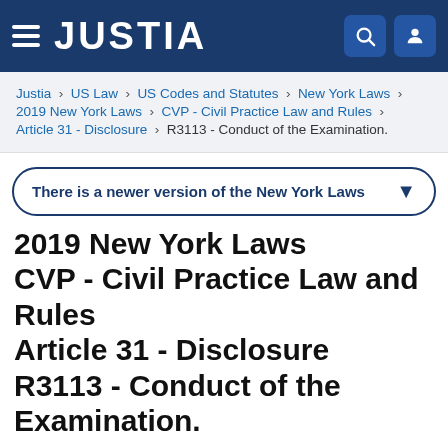JUSTIA
Justia › US Law › US Codes and Statutes › New York Laws › 2019 New York Laws › CVP - Civil Practice Law and Rules › Article 31 - Disclosure › R3113 - Conduct of the Examination.
There is a newer version of the New York Laws
2019 New York Laws CVP - Civil Practice Law and Rules Article 31 - Disclosure R3113 - Conduct of the Examination.
Universal Citation: NY CPLR § 3113 (2019)
Rule 3113. Conduct of the examination. ( depositions may be taken. Depositions may be